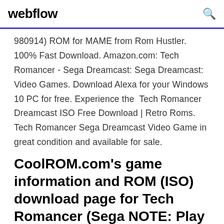webflow
980914) ROM for MAME from Rom Hustler. 100% Fast Download. Amazon.com: Tech Romancer - Sega Dreamcast: Sega Dreamcast: Video Games. Download Alexa for your Windows 10 PC for free. Experience the Tech Romancer Dreamcast ISO Free Download | Retro Roms. Tech Romancer Sega Dreamcast Video Game in great condition and available for sale.
CoolROM.com's game information and ROM (ISO) download page for Tech Romancer (Sega NOTE: Play this ISO on your PC by using a